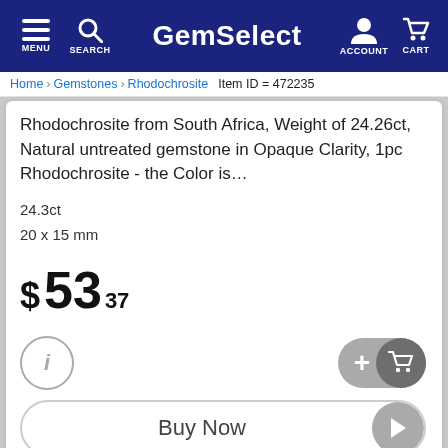GemSelect — MENU SEARCH ACCOUNT CART
Home > Gemstones > Rhodochrosite  Item ID = 472235
Rhodochrosite from South Africa, Weight of 24.26ct, Natural untreated gemstone in Opaque Clarity, 1pc Rhodochrosite - the Color is…
24.3ct
20 x 15 mm
$ 53 37
[Figure (infographic): Info button (circle with i), Add to Cart button (grey pill with + and cart icon), Buy Now button (pill with play arrow)]
[Figure (infographic): Social share bar: Like, Share (Facebook), Save (Pinterest), Tweet (Twitter)]